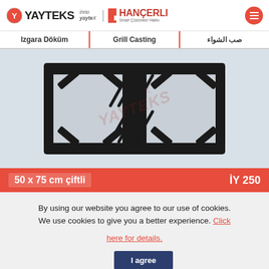YAYTEKS | inno yayte X | HANÇERLI - Smart Çözümleri Hakkı
| Izgara Döküm | Grill Casting | صب الشواء |
| --- | --- | --- |
[Figure (photo): Cast iron double grill rack/grate, black color, 50x75 cm, product code İY 250. Dual burner support structure with diagonal slat pattern in center.]
50 x 75 cm çiftli    İY 250
By using our website you agree to our use of cookies. We use cookies to give you a better experience. Click here for details.
I agree